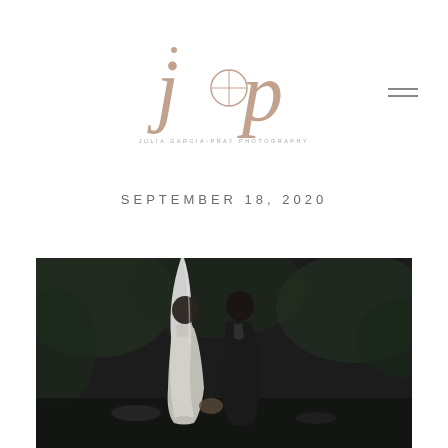[Figure (logo): J&P photography logo — stylized cursive 'j' and 'p' letters in rose gold/tan color with a circular ring element, and small text below reading 'JULIA GARCIA-PRAY PHOTOGRAPHY']
SEPTEMBER 18, 2020
[Figure (photo): Black and white wedding photo of a bride and groom seen from behind, walking together and holding hands. The bride wears a white lace wedding dress with a long veil. The groom wears a dark suit. They are outdoors with trees and foliage in the background.]